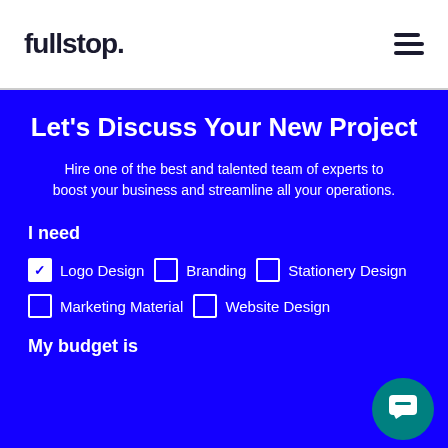[Figure (logo): fullstop. logo in dark text on white background]
Let's Discuss Your New Project
Hire one of the best and talented team of experts to boost your business and streamline all your operations.
I need
Logo Design (checked), Branding (unchecked), Stationery Design (unchecked)
Marketing Material (unchecked), Website Design (unchecked)
My budget is